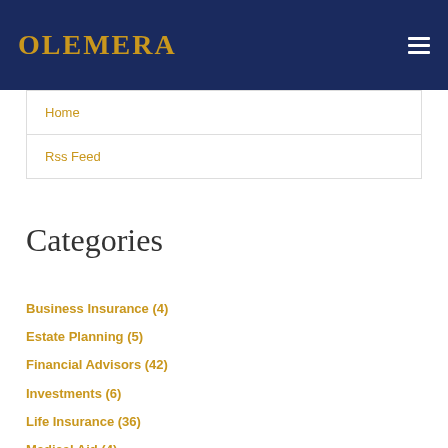OLEMERA
Home
Rss Feed
Categories
Business Insurance (4)
Estate Planning (5)
Financial Advisors (42)
Investments (6)
Life Insurance (36)
Medical Aid (4)
Personal Financial planning (63)
Personal Tax Planning (19)